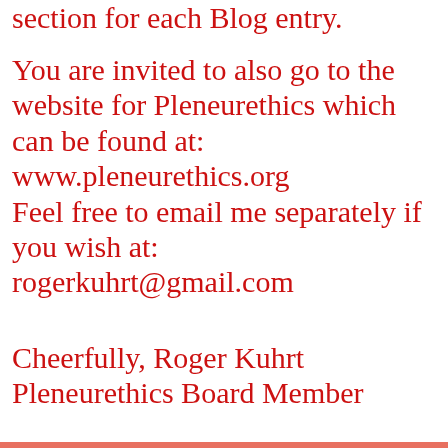section for each Blog entry.
You are invited to also go to the website for Pleneurethics which can be found at:
www.pleneurethics.org
Feel free to email me separately if you wish at:
rogerkuhrt@gmail.com
Cheerfully, Roger Kuhrt
Pleneurethics Board Member